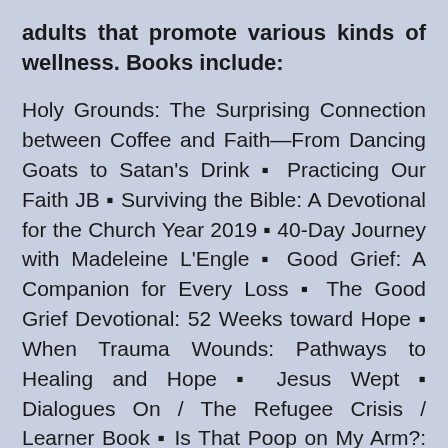This February we will be selling books for adults that promote various kinds of wellness. Books include:
Holy Grounds: The Surprising Connection between Coffee and Faith—From Dancing Goats to Satan's Drink ▪ Practicing Our Faith JB ▪ Surviving the Bible: A Devotional for the Church Year 2019 ▪ 40-Day Journey with Madeleine L'Engle ▪ Good Grief: A Companion for Every Loss ▪ The Good Grief Devotional: 52 Weeks toward Hope ▪ When Trauma Wounds: Pathways to Healing and Hope ▪ Jesus Wept ▪ Dialogues On / The Refugee Crisis / Learner Book ▪ Is That Poop on My Arm?: Parenting While